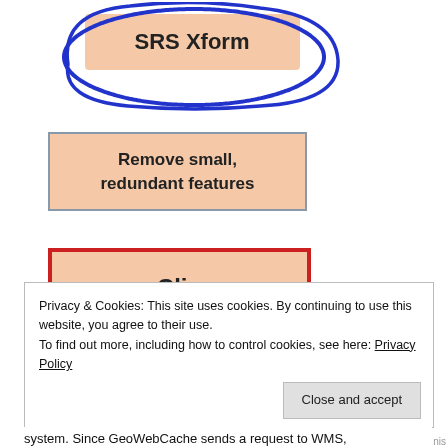[Figure (screenshot): UI button labeled 'SRS Xform' with salmon/peach background, circled in blue hand-drawn oval]
[Figure (screenshot): UI button labeled 'Remove small, redundant features' with salmon background and blue-gray border]
[Figure (screenshot): UI button labeled 'Clip' with salmon background and thick red border]
[Figure (screenshot): UI button labeled 'SLD' with salmon background and thick red border]
Privacy & Cookies: This site uses cookies. By continuing to use this website, you agree to their use.
To find out more, including how to control cookies, see here: Privacy Policy
system. Since GeoWebCache sends a request to WMS,